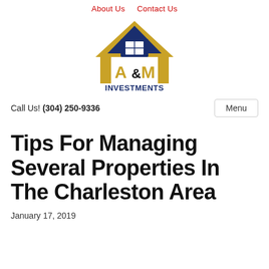About Us   Contact Us
[Figure (logo): A&M Investments logo: gold and navy house/roof shape with A&M text and INVESTMENTS below]
Call Us! (304) 250-9336
Tips For Managing Several Properties In The Charleston Area
January 17, 2019